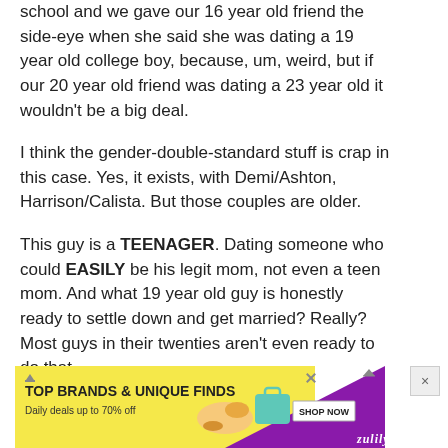school and we gave our 16 year old friend the side-eye when she said she was dating a 19 year old college boy, because, um, weird, but if our 20 year old friend was dating a 23 year old it wouldn't be a big deal.
I think the gender-double-standard stuff is crap in this case. Yes, it exists, with Demi/Ashton, Harrison/Calista. But those couples are older.
This guy is a TEENAGER. Dating someone who could EASILY be his legit mom, not even a teen mom. And what 19 year old guy is honestly ready to settle down and get married? Really? Most guys in their twenties aren't even ready to do that.
[Figure (other): Advertisement banner: TOP BRANDS & UNIQUE FINDS, Daily deals up to 70% off, SHOP NOW button, Zulily brand, yellow and purple background with shoe and bag imagery.]